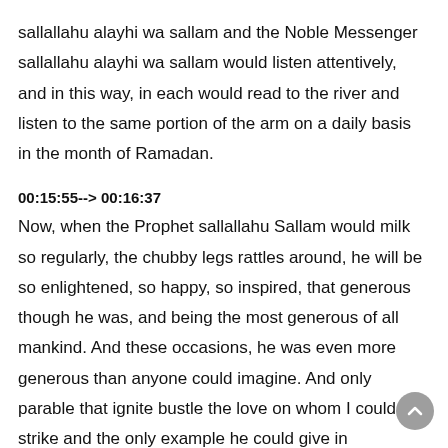sallallahu alayhi wa sallam and the Noble Messenger sallallahu alayhi wa sallam would listen attentively, and in this way, in each would read to the river and listen to the same portion of the arm on a daily basis in the month of Ramadan.
00:15:55--> 00:16:37
Now, when the Prophet sallallahu Sallam would milk so regularly, the chubby legs rattles around, he will be so enlightened, so happy, so inspired, that generous though he was, and being the most generous of all mankind. And these occasions, he was even more generous than anyone could imagine. And only parable that ignite bustle the love on whom I could strike and the only example he could give in comparison to make was that the prophets of the love it was seldom after encountering Jubilee, his salatu salam, and having shared the